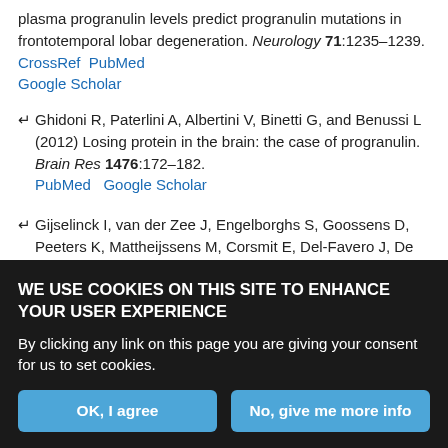plasma progranulin levels predict progranulin mutations in frontotemporal lobar degeneration. Neurology 71:1235–1239. CrossRef PubMed Google Scholar
Ghidoni R, Paterlini A, Albertini V, Binetti G, and Benussi L (2012) Losing protein in the brain: the case of progranulin. Brain Res 1476:172–182. PubMed Google Scholar
Gijselinck I, van der Zee J, Engelborghs S, Goossens D, Peeters K, Mattheijssens M, Corsmit E, Del-Favero J, De Deyn PP, Van Broeckhoven C, et al. (2008) Progranulin locus deletion in frontotemporal dementia. Hum Mutat 29:53–58. CrossRef PubMed Google Scholar
Hosokawa M, Arai T, Masuda-Suzukake M, Kondo H, Matsuwaki T, Nishihara M, Hasegawa M, and Akiyama H (2015) Progranulin reduction is
WE USE COOKIES ON THIS SITE TO ENHANCE YOUR USER EXPERIENCE
By clicking any link on this page you are giving your consent for us to set cookies.